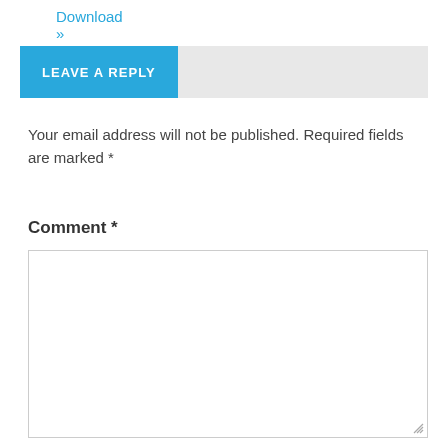Download »
LEAVE A REPLY
Your email address will not be published. Required fields are marked *
Comment *
[Figure (other): Empty comment textarea input field with resize handle]